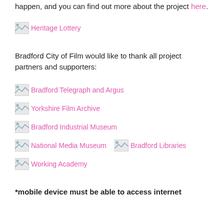happen, and you can find out more about the project here.
[Figure (logo): Heritage Lottery logo placeholder image]
Bradford City of Film would like to thank all project partners and supporters:
[Figure (logo): Bradford Telegraph and Argus logo placeholder image]
[Figure (logo): Yorkshire Film Archive logo placeholder image]
[Figure (logo): Bradford Industrial Museum logo placeholder image]
[Figure (logo): National Media Museum logo placeholder image]
[Figure (logo): Bradford Libraries logo placeholder image]
[Figure (logo): Working Academy logo placeholder image]
*mobile device must be able to access internet